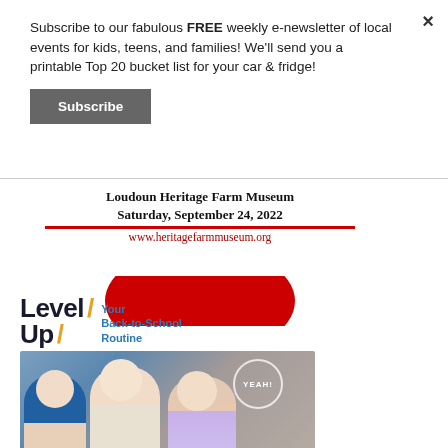×
Subscribe to our fabulous FREE weekly e-newsletter of local events for kids, teens, and families! We'll send you a printable Top 20 bucket list for your car & fridge!
Subscribe
[Figure (infographic): Loudoun Heritage Farm Museum event banner with red apple/tomato shape graphic, text: Loudoun Heritage Farm Museum, Saturday, September 24, 2022, www.heritagefarmmuseum.org]
[Figure (photo): Level Up Your Back-to-School Routine advertisement with photo of three young excited children sitting on the floor]